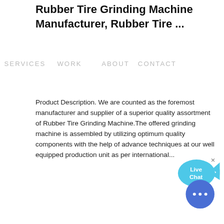Rubber Tire Grinding Machine Manufacturer, Rubber Tire ...
SERVICES   WORK      ABOUT  CONTACT
Product Description. We are counted as the foremost manufacturer and supplier of a superior quality assortment of Rubber Tire Grinding Machine.The offered grinding machine is assembled by utilizing optimum quality components with the help of advance techniques at our well equipped production unit as per international...
COLOR:
Orange
Blue
Yellow
Tire Shredders & Recycling Equipment
Options for our 2, 3, and 4 stage scrap tire
[Figure (illustration): Live Chat speech bubble icon with fish-tail shape in cyan/blue color with 'x' close button, containing text 'Live Chat']
[Figure (illustration): Round blue chat button with ellipsis (three dots) icon]